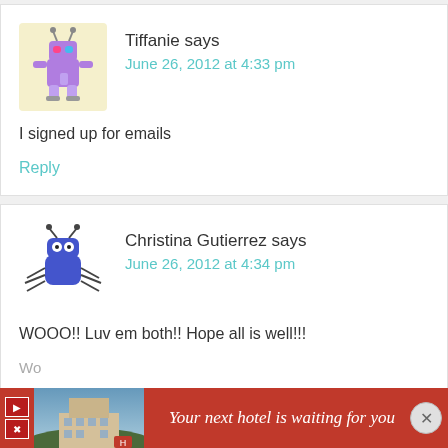Tiffanie says
June 26, 2012 at 4:33 pm
I signed up for emails
Reply
Christina Gutierrez says
June 26, 2012 at 4:34 pm
WOOO!! Luv em both!! Hope all is well!!!
[Figure (screenshot): Advertisement banner: 'Your next hotel is waiting for you' with hotel photo background, play/X buttons, and close circle button]